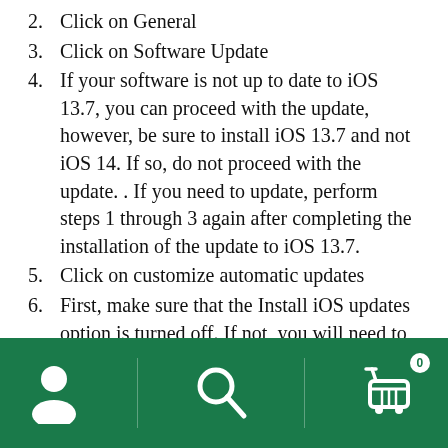2. Click on General
3. Click on Software Update
4. If your software is not up to date to iOS 13.7, you can proceed with the update, however, be sure to install iOS 13.7 and not iOS 14. If so, do not proceed with the update. . If you need to update, perform steps 1 through 3 again after completing the installation of the update to iOS 13.7.
5. Click on customize automatic updates
6. First, make sure that the Install iOS updates option is turned off. If not, you will need to turn it off.
7. Finally, you will need to turn off the download iOS updates option.
[Figure (infographic): Green navigation footer bar with three icons: user/person icon on the left, search/magnifying glass icon in the center, and shopping cart icon with badge showing 0 on the right. Vertical dividers separate the sections.]